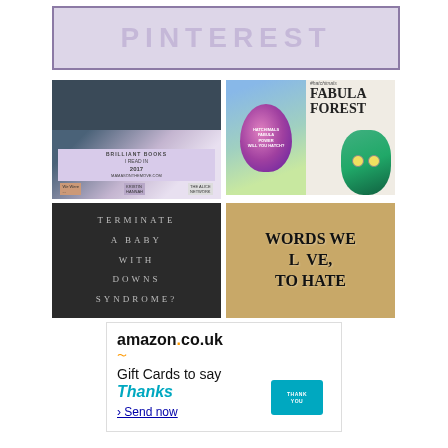[Figure (screenshot): Pinterest banner logo with lavender/purple background and white uppercase text reading PINTEREST]
[Figure (screenshot): Collage of book covers with lavender and dark blue tones, showing book recommendations]
[Figure (screenshot): Hatchimals product image with egg and owl toy, text reading FABULOUS FOREST]
[Figure (screenshot): Dark gray image with white uppercase text reading TERMINATE A BABY WITH DOWNS SYNDROME?]
[Figure (screenshot): Scrabble tiles on wooden background with text WORDS WE LOVE, TO HATE]
[Figure (screenshot): Amazon.co.uk advertisement for Gift Cards to say Thanks with Send now link and thank you card image]